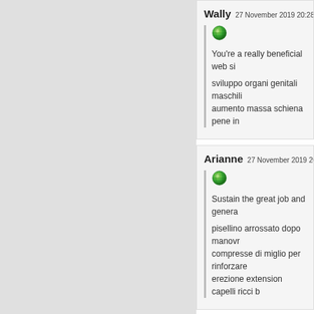Wally  27 November 2019 20:28 | Limb...
You're a really beneficial web si...
sviluppo organi genitali maschili... aumento massa schiena pene in...
Arianne  27 November 2019 20:21 |...
Sustain the great job and genera...
pisellino arrossato dopo manovr... compresse di miglio per rinforzare... erezione extension capelli ricci b...
Kandice  27 November 2019 20:12 |...